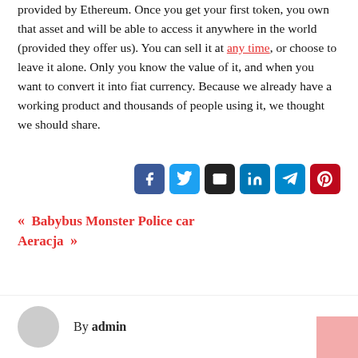provided by Ethereum. Once you get your first token, you own that asset and will be able to access it anywhere in the world (provided they offer us). You can sell it at any time, or choose to leave it alone. Only you know the value of it, and when you want to convert it into fiat currency. Because we already have a working product and thousands of people using it, we thought we should share.
[Figure (other): Social share buttons: Facebook, Twitter, Email, LinkedIn, Telegram, Pinterest]
Babybus Monster Police car
Aeracja
By admin